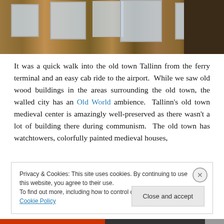[Figure (photo): Photo of old wooden buildings with white-framed windows, typical of Tallinn old town surroundings. A dark wooden fence panel is visible on the right.]
It was a quick walk into the old town Tallinn from the ferry terminal and an easy cab ride to the airport.  While we saw old wood buildings in the areas surrounding the old town, the walled city has an Old World ambience.  Tallinn's old town medieval center is amazingly well-preserved as there wasn't a lot of building there during communism.  The old town has watchtowers, colorfully painted medieval houses,
Privacy & Cookies: This site uses cookies. By continuing to use this website, you agree to their use.
To find out more, including how to control cookies, see here: Cookie Policy